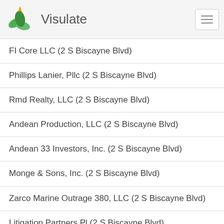Visulate
FI Core LLC (2 S Biscayne Blvd)
Phillips Lanier, Pllc (2 S Biscayne Blvd)
Rmd Realty, LLC (2 S Biscayne Blvd)
Andean Production, LLC (2 S Biscayne Blvd)
Andean 33 Investors, Inc. (2 S Biscayne Blvd)
Monge & Sons, Inc. (2 S Biscayne Blvd)
Zarco Marine Outrage 380, LLC (2 S Biscayne Blvd)
Litigation Partners Pl (2 S Biscayne Blvd)
1370 Cwelt-2008 LLC (100 S Biscayne Blvd Ste 300)
Csr Master Strategies LLC (100 S Biscayne Blvd Ste 300)